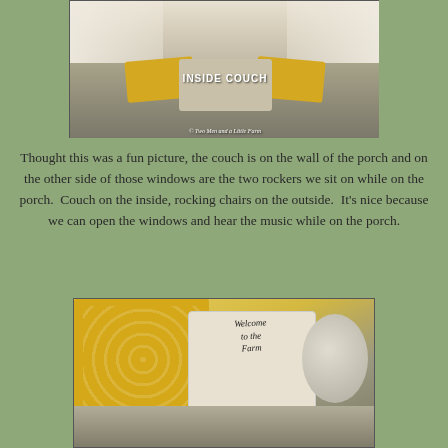[Figure (photo): Interior photo of a couch with striped upholstery, yellow decorative pillows, and farm animal print pillows near windows with curtains. Text overlay reads 'INSIDE COUCH' and '© Two Men and a Little Farm']
Thought this was a fun picture, the couch is on the wall of the porch and on the other side of those windows are the two rockers we sit on while on the porch.  Couch on the inside, rocking chairs on the outside.  It's nice because we can open the windows and hear the music while on the porch.
[Figure (photo): Close-up photo of couch cushions with a yellow patterned pillow on the left and a white decorative pillow reading 'Welcome to the Farm' with a farm scene illustration on the right.]